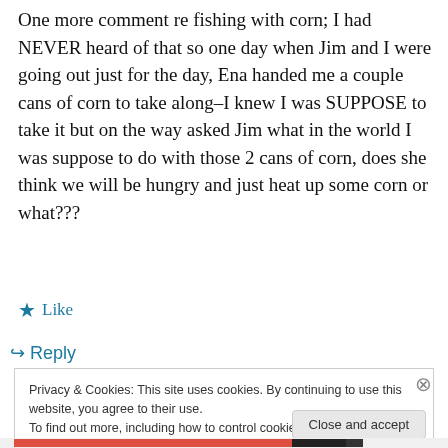One more comment re fishing with corn; I had NEVER heard of that so one day when Jim and I were going out just for the day, Ena handed me a couple cans of corn to take along–I knew I was SUPPOSE to take it but on the way asked Jim what in the world I was suppose to do with those 2 cans of corn, does she think we will be hungry and just heat up some corn or what???
★ Like
↳ Reply
Privacy & Cookies: This site uses cookies. By continuing to use this website, you agree to their use. To find out more, including how to control cookies, see here: Cookie Policy
Close and accept